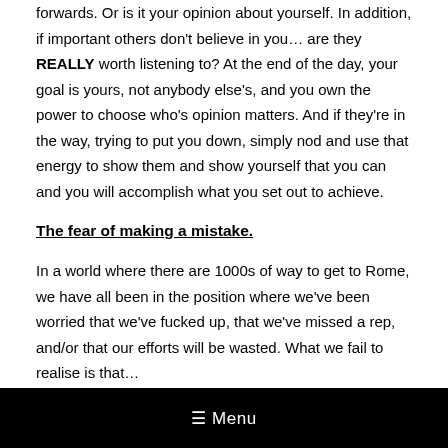forwards. Or is it your opinion about yourself. In addition, if important others don't believe in you… are they REALLY worth listening to? At the end of the day, your goal is yours, not anybody else's, and you own the power to choose who's opinion matters. And if they're in the way, trying to put you down, simply nod and use that energy to show them and show yourself that you can and you will accomplish what you set out to achieve.
The fear of making a mistake.
In a world where there are 1000s of way to get to Rome, we have all been in the position where we've been worried that we've fucked up, that we've missed a rep, and/or that our efforts will be wasted. What we fail to realise is that…
☰ Menu